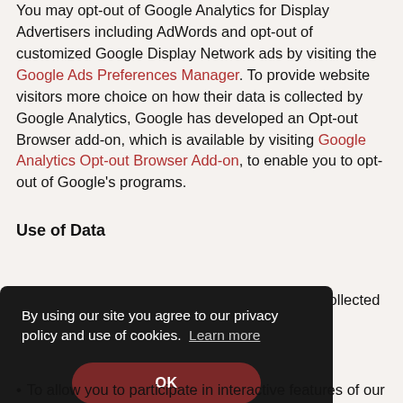You may opt-out of Google Analytics for Display Advertisers including AdWords and opt-out of customized Google Display Network ads by visiting the Google Ads Preferences Manager. To provide website visitors more choice on how their data is collected by Google Analytics, Google has developed an Opt-out Browser add-on, which is available by visiting Google Analytics Opt-out Browser Add-on, to enable you to opt-out of Google's programs.
Use of Data
Mike Libs and the Chocolate Factory uses the collected data
By using our site you agree to our privacy policy and use of cookies. Learn more
OK
To allow you to participate in interactive features of our